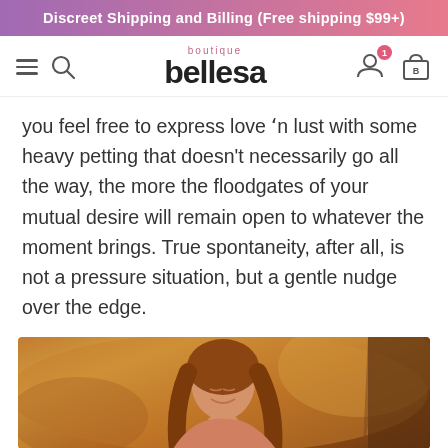Discreet Shipping and Billing (Free shipping $99+)
[Figure (screenshot): Bellesa Boutique website navigation bar with hamburger menu, search icon, logo, user account icon with badge showing 1, and shopping bag icon]
you feel free to express love 'n lust with some heavy petting that doesn't necessarily go all the way, the more the floodgates of your mutual desire will remain open to whatever the moment brings. True spontaneity, after all, is not a pressure situation, but a gentle nudge over the edge.
[Figure (photo): A smiling young woman with long auburn hair, eyes closed, in a warm-toned setting]